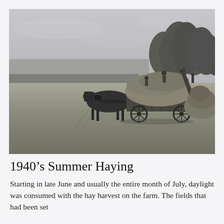[Figure (photo): Black and white photograph of a 1940s summer haying scene on a farm. A horse is pulling a wagon loaded with hay. Workers are visible on and around the wagon. A mechanical hay loader or elevator is attached to the rear of the wagon. Open fields and a row of trees are visible in the background.]
1940’s Summer Haying
Starting in late June and usually the entire month of July, daylight was consumed with the hay harvest on the farm. The fields that had been set